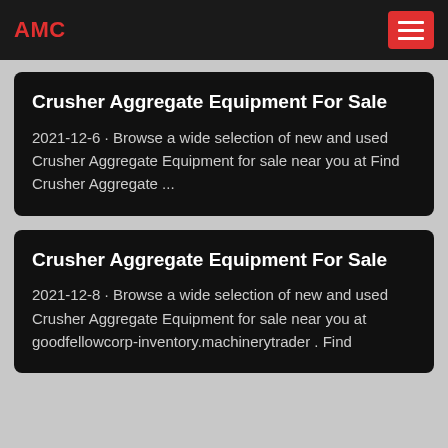AMC
Crusher Aggregate Equipment For Sale
2021-12-6 · Browse a wide selection of new and used Crusher Aggregate Equipment for sale near you at Find Crusher Aggregate ...
Crusher Aggregate Equipment For Sale
2021-12-8 · Browse a wide selection of new and used Crusher Aggregate Equipment for sale near you at goodfellowcorp-inventory.machinerytrader . Find